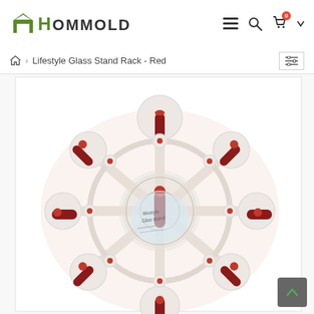HOMMOLD
Lifestyle Glass Stand Rack - Red
[Figure (photo): Top-down view of a red and white Lifestyle Glass Stand Rack product, showing its wheel-spoke design with red pegs and white circular frame, placed on product packaging.]